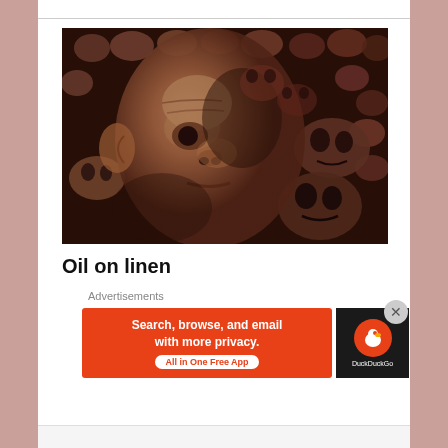[Figure (illustration): A dark, surrealist oil painting on linen depicting a human face composed of or surrounded by skulls and bones in dark brownish-red tones. The face appears aged and the skulls form a mosaic-like background pattern.]
Oil on linen
Advertisements
[Figure (screenshot): DuckDuckGo advertisement banner. Left portion: orange background with white text 'Search, browse, and email with more privacy.' and a white pill button reading 'All in One Free App'. Right portion: dark background with DuckDuckGo logo (orange circle with duck icon) and 'DuckDuckGo' text in white.]